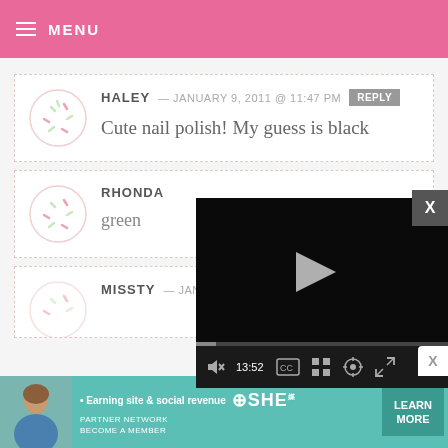MENU
HALEY — JANUARY 9, 2011 @ 11:47 PM  REPLY
Cute nail polish! My guess is black
RHONDA
green
[Figure (screenshot): Video player with black background, play button, progress bar, and controls showing 13:52]
MISSTY — JANUARY 9, 2011 @ 11:47 PM  REPLY
[Figure (infographic): SHE Partner Network advertisement banner: Earning site & social revenue. LEARN MORE button. Become a member.]